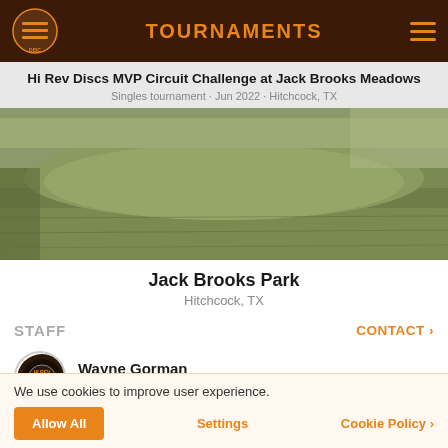TOURNAMENTS
Hi Rev Discs MVP Circuit Challenge at Jack Brooks Meadows
Singles tournament · Jun 2022 · Hitchcock, TX
[Figure (photo): Photo of Jack Brooks Park grass field in Hitchcock, TX]
Jack Brooks Park
Hitchcock, TX
STAFF
CONTACT ›
Wayne Gorman
Tournament Director
We use cookies to improve user experience.
Allow All
Settings
Cookie Policy ›